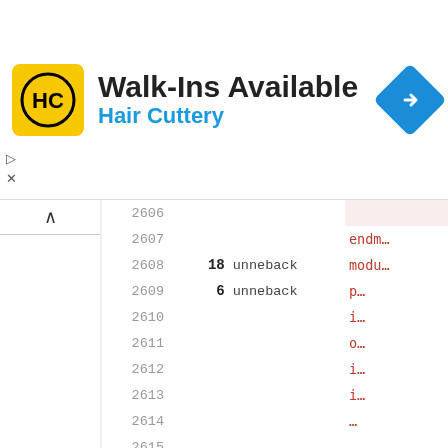[Figure (screenshot): Advertisement banner: Hair Cuttery Walk-Ins Available ad with yellow HC logo, navigation icon, and play/close controls]
| line | num | op | code |
| --- | --- | --- | --- |
| 2606 |  |  |  |
| 2607 |  |  | endm… |
| 2608 | 18 | unneback | modu… |
| 2609 | 6 | unneback | p… |
| 2610 |  |  | i… |
| 2611 |  |  | o… |
| 2612 |  |  | i… |
| 2613 |  |  | i… |
| 2614 |  |  | … |
| 2615 |  |  | … |
| 2616 |  |  |  |
| 2617 |  |  | … |
| 2618 |  |  |  |
| 2619 |  |  |  |
| 2620 |  |  | endm… |
| 2621 | 105 | unneback | modu… |
| 2622 |  |  | p… |